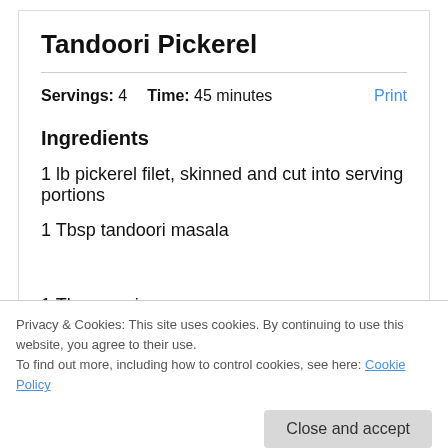Tandoori Pickerel
Servings: 4    Time: 45 minutes    Print
Ingredients
1 lb pickerel filet, skinned and cut into serving portions
1 Tbsp tandoori masala
1 Tbsp cumin (partially visible)
Privacy & Cookies: This site uses cookies. By continuing to use this website, you agree to their use.
To find out more, including how to control cookies, see here: Cookie Policy
1 tsp grated garlic